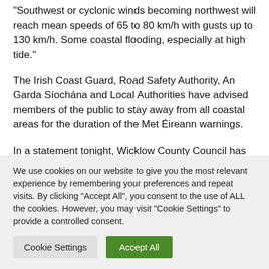“Southwest or cyclonic winds becoming northwest will reach mean speeds of 65 to 80 km/h with gusts up to 130 km/h. Some coastal flooding, especially at high tide.”
The Irish Coast Guard, Road Safety Authority, An Garda Síochána and Local Authorities have advised members of the public to stay away from all coastal areas for the duration of the Met Éireann warnings.
In a statement tonight, Wicklow County Council has said only necessary journeys should be undertaken and motorists should exercise extreme caution when driving.
We use cookies on our website to give you the most relevant experience by remembering your preferences and repeat visits. By clicking “Accept All”, you consent to the use of ALL the cookies. However, you may visit "Cookie Settings" to provide a controlled consent.